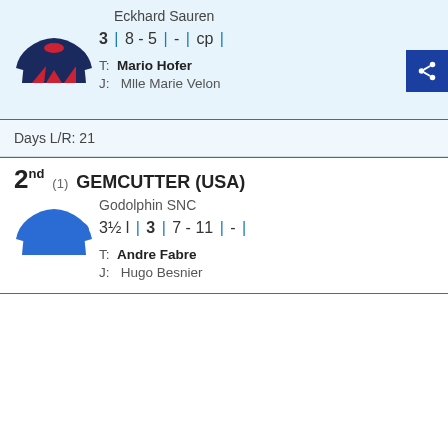Eckhard Sauren
3 | 8 - 5 | - | cp |
T: Mario Hofer
J: Mlle Marie Velon
Days L/R: 21
2nd (1) GEMCUTTER (USA)
Godolphin SNC
3½ l | 3 | 7 - 11 | - |
T: Andre Fabre
J: Hugo Besnier